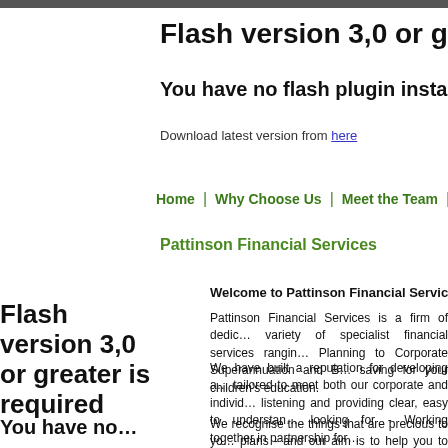Flash version 3,0 or great…
You have no flash plugin installed…
Download latest version from here
| Home | Why Choose Us | Meet the Team | Ser…
Pattinson Financial Services
Welcome to Pattinson Financial Services
Pattinson Financial Services is a firm of dedic… variety of specialist financial services rangin… Planning to Corporate Superannuation and B… saving for your children's education.
We have built a reputation for developing a… tailored to meet both our corporate and individ… listening and providing clear, easy to understan… looking for - Working together in partnership for…
We recognise the things that are precious to yo… plans - and our aim is to help you to grow and p…
Flash version 3,0 or greater is required
You have no…